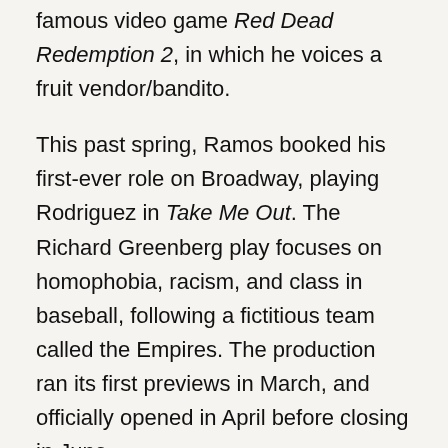famous video game Red Dead Redemption 2, in which he voices a fruit vendor/bandito.
This past spring, Ramos booked his first-ever role on Broadway, playing Rodriguez in Take Me Out. The Richard Greenberg play focuses on homophobia, racism, and class in baseball, following a fictitious team called the Empires. The production ran its first previews in March, and officially opened in April before closing in June.
“I never thought I would be on Broadway at this point in my career,” Ramos said. “I thought if I were to make it to Broadway, it would be kind of in a backdoor sense, like I had built up enough TV and film credits, where then I would be able to get an